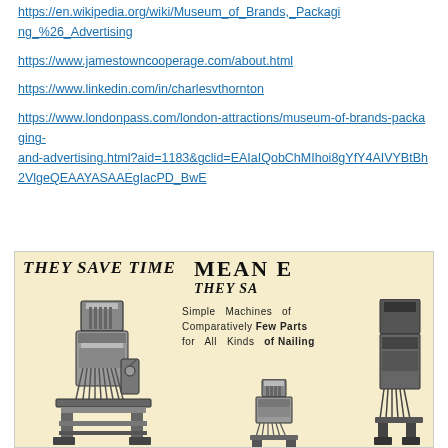https://en.wikipedia.org/wiki/Museum_of_Brands,_Packaging_%26_Advertising
https://www.jamestowncooperage.com/about.html
https://www.linkedin.com/in/charlesvthornton
https://www.londonpass.com/london-attractions/museum-of-brands-packaging-and-advertising.html?aid=1183&gclid=EAIaIQobChMIhoi8gYfY4AIVYBtBh2VlgeQEAAYASAAEgIacPD_BwE
[Figure (photo): Vintage advertisement showing industrial nailing machines with text 'THEY SAVE TIME', 'MEAN E', 'THEY SA', and 'Simple Machines of Comparatively Few Parts for All Kinds of Nailing']